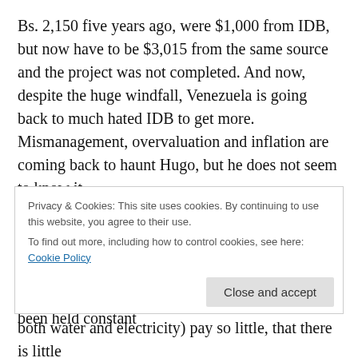Bs. 2,150 five years ago, were $1,000 from IDB, but now have to be $3,015 from the same source and the project was not completed. And now, despite the huge windfall, Venezuela is going back to much hated IDB to get more. Mismanagement, overvaluation and inflation are coming back to haunt Hugo, but he does not seem to know it.
Because the problem is even more complex than that. While new infrastructure is being delayed, old infrastructure can barely be maintained, because electricity rates across the board have been held constant
Privacy & Cookies: This site uses cookies. By continuing to use this website, you agree to their use.
To find out more, including how to control cookies, see here: Cookie Policy
Close and accept
both water and electricity) pay so little, that there is little